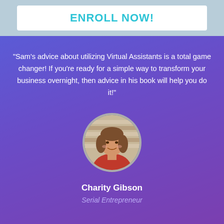ENROLL NOW!
"Sam's advice about utilizing Virtual Assistants is a total game changer! If you're ready for a simple way to transform your business overnight, then advice in his book will help you do it!"
[Figure (photo): Circular portrait photo of Charity Gibson, a woman with brown hair wearing a red top, smiling]
Charity Gibson
Serial Entrepreneur